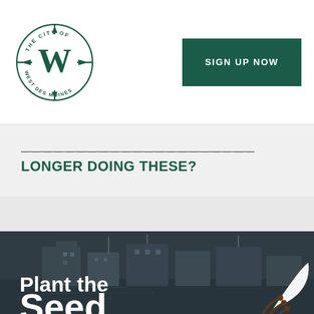[Figure (logo): City of West Des Moines circular logo with compass rose and W emblem in teal/green]
SIGN UP NOW
LONGER DOING THESE?
[Figure (photo): Dark photo of city buildings by a lake/waterway with overlay text 'Plant the Seed']